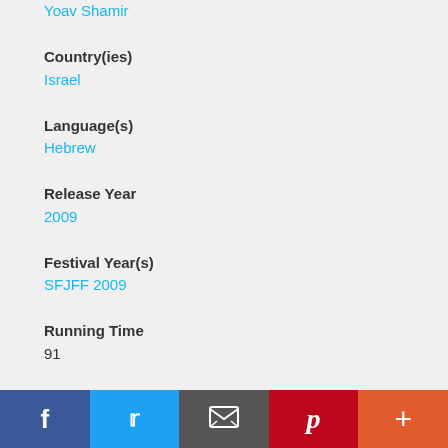Yoav Shamir
Country(ies)
Israel
Language(s)
Hebrew
Release Year
2009
Festival Year(s)
SFJFF 2009
Running Time
91
Writer(s)
Yoav Shamir
Cinematographer(s)
Yoav Shamir